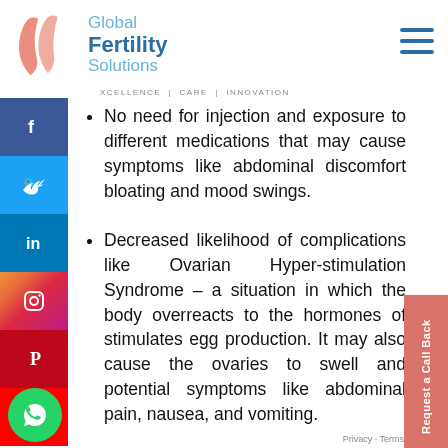[Figure (logo): Global Fertility Solutions logo with two pink leaf/flame shapes and blue text]
XCELLENCE | CARE | INNOVATION
No need for injection and exposure to different medications that may cause symptoms like abdominal discomfort bloating and mood swings.
Decreased likelihood of complications like Ovarian Hyper-stimulation Syndrome – a situation in which the body overreacts to the hormones of stimulates egg production. It may also cause the ovaries to swell and potential symptoms like abdominal pain, nausea, and vomiting.